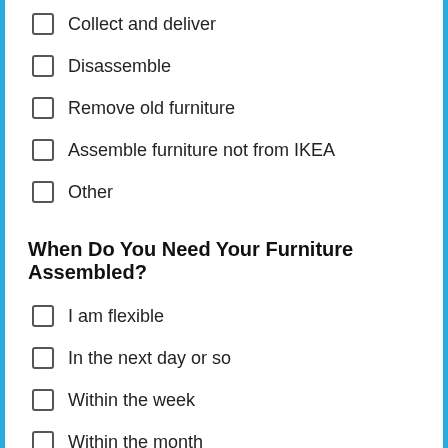Collect and deliver
Disassemble
Remove old furniture
Assemble furniture not from IKEA
Other
When Do You Need Your Furniture Assembled?
I am flexible
In the next day or so
Within the week
Within the month
Other
Do You Have Any Additional Details?
[Figure (illustration): Avatar of a handyman with beard and orange shirt]
Great we've got pros ready and available